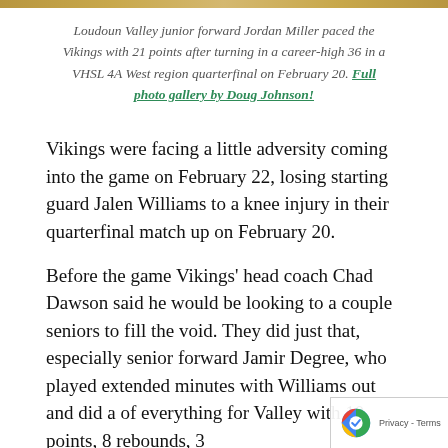[Figure (photo): Top edge of a basketball court floor image, showing wood grain and markings]
Loudoun Valley junior forward Jordan Miller paced the Vikings with 21 points after turning in a career-high 36 in a VHSL 4A West region quarterfinal on February 20. Full photo gallery by Doug Johnson!
Vikings were facing a little adversity coming into the game on February 22, losing starting guard Jalen Williams to a knee injury in their quarterfinal match up on February 20.
Before the game Vikings' head coach Chad Dawson said he would be looking to a couple seniors to fill the void. They did just that, especially senior forward Jamir Degree, who played extended minutes with Williams out and did a of everything for Valley with 10 points, 8 rebounds, 3 assists and 3 steals.